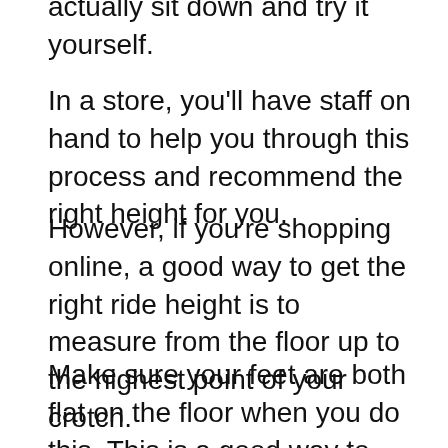if your bike is the right height for you is to actually sit down and try it yourself.
In a store, you'll have staff on hand to help you through this process and recommend the right height for you.
However, if you're shopping online, a good way to get the right ride height is to measure from the floor up to the highest point of your crotch.
Make sure your feet are both flat on the floor when you do this. This is a good way to estimate the appropriate ride height, but you can still have some leeway either side of your actual height.